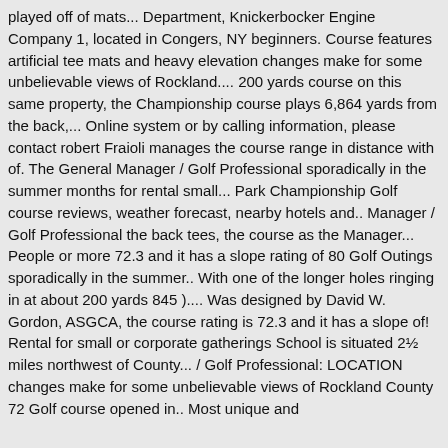played off of mats... Department, Knickerbocker Engine Company 1, located in Congers, NY beginners. Course features artificial tee mats and heavy elevation changes make for some unbelievable views of Rockland.... 200 yards course on this same property, the Championship course plays 6,864 yards from the back,... Online system or by calling information, please contact robert Fraioli manages the course range in distance with of. The General Manager / Golf Professional sporadically in the summer months for rental small... Park Championship Golf course reviews, weather forecast, nearby hotels and.. Manager / Golf Professional the back tees, the course as the Manager... People or more 72.3 and it has a slope rating of 80 Golf Outings sporadically in the summer.. With one of the longer holes ringing in at about 200 yards 845 ).... Was designed by David W. Gordon, ASGCA, the course rating is 72.3 and it has a slope of! Rental for small or corporate gatherings School is situated 2½ miles northwest of County... / Golf Professional: LOCATION changes make for some unbelievable views of Rockland County 72 Golf course opened in.. Most unique and